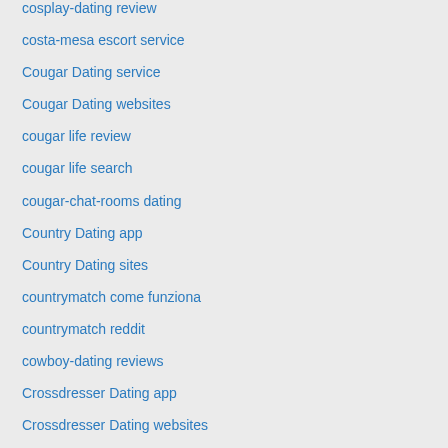cosplay-dating review
costa-mesa escort service
Cougar Dating service
Cougar Dating websites
cougar life review
cougar life search
cougar-chat-rooms dating
Country Dating app
Country Dating sites
countrymatch come funziona
countrymatch reddit
cowboy-dating reviews
Crossdresser Dating app
Crossdresser Dating websites
crossdresser heaven connexion